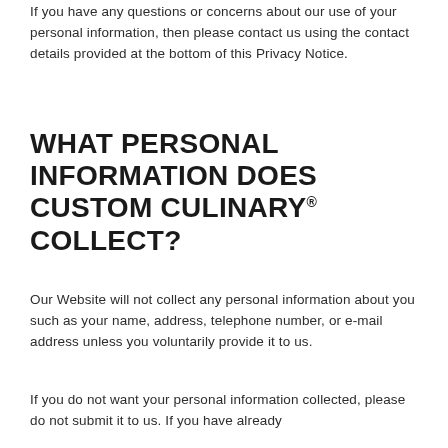If you have any questions or concerns about our use of your personal information, then please contact us using the contact details provided at the bottom of this Privacy Notice.
WHAT PERSONAL INFORMATION DOES CUSTOM CULINARY® COLLECT?
Our Website will not collect any personal information about you such as your name, address, telephone number, or e-mail address unless you voluntarily provide it to us.
If you do not want your personal information collected, please do not submit it to us. If you have already